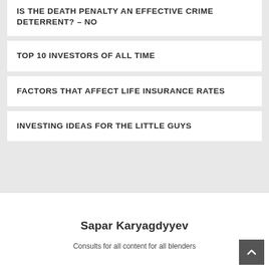IS THE DEATH PENALTY AN EFFECTIVE CRIME DETERRENT? – NO
TOP 10 INVESTORS OF ALL TIME
FACTORS THAT AFFECT LIFE INSURANCE RATES
INVESTING IDEAS FOR THE LITTLE GUYS
Sapar Karyagdyyev
Sonsults for all content for all blenders